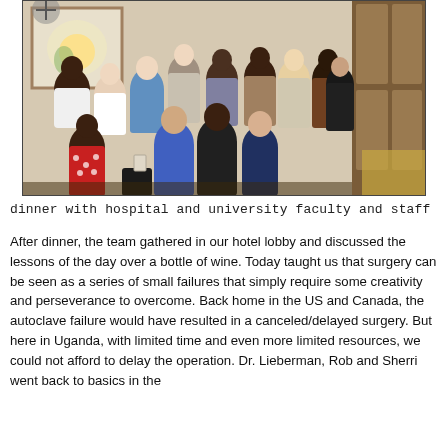[Figure (photo): Group photo of a medical team with hospital and university faculty and staff at a dinner gathering indoors.]
dinner with hospital and university faculty and staff
After dinner, the team gathered in our hotel lobby and discussed the lessons of the day over a bottle of wine. Today taught us that surgery can be seen as a series of small failures that simply require some creativity and perseverance to overcome. Back home in the US and Canada, the autoclave failure would have resulted in a canceled/delayed surgery. But here in Uganda, with limited time and even more limited resources, we could not afford to delay the operation. Dr. Lieberman, Rob and Sherri went back to basics in the